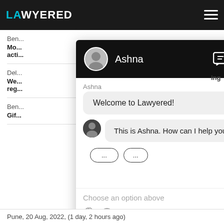[Figure (screenshot): Lawyered website chat popup showing agent Ashna with welcome message and 'This is Ashna. How can I help you?' message, with 'Choose an option above' input placeholder]
Pune,  20 Aug, 2022,  (1 day, 2 hours ago)